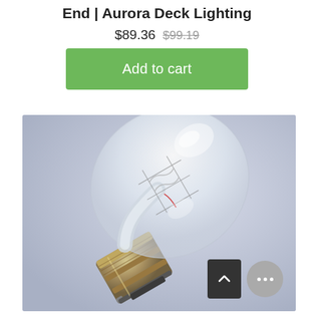End | Aurora Deck Lighting
$89.36  $99.19
Add to cart
[Figure (photo): Close-up photo of a clear incandescent light bulb with a bayonet-style metal base, shown on a grey-blue background]